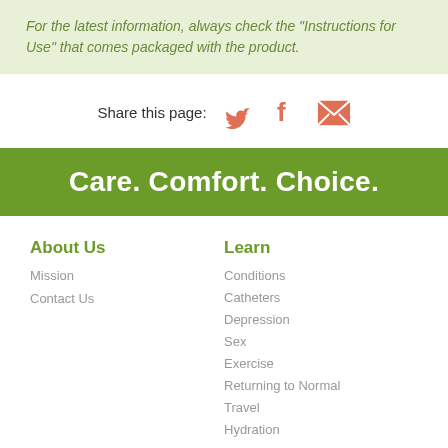For the latest information, always check the “Instructions for Use” that comes packaged with the product.
Share this page:
Care. Comfort. Choice.
About Us
Mission
Contact Us
Learn
Conditions
Catheters
Depression
Sex
Exercise
Returning to Normal
Travel
Hydration